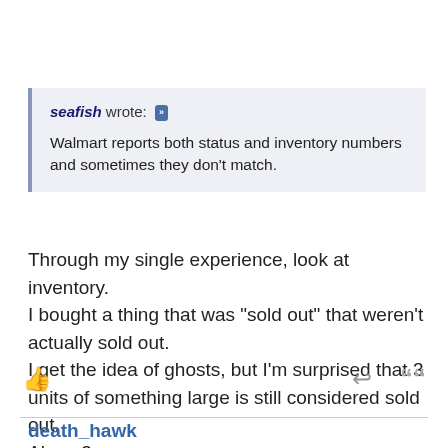seafish wrote: [icon] Walmart reports both status and inventory numbers and sometimes they don't match.
Through my single experience, look at inventory.
I bought a thing that was "sold out" that weren't actually sold out.
I get the idea of ghosts, but I'm surprised that 3 units of something large is still considered sold out.

Also <3
death_hawk